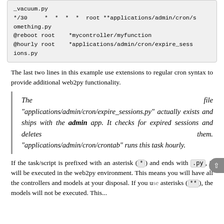_vacuum.py
*/30 * * * * root **applications/admin/cron/something.py
@reboot root *mycontroller/myfunction
@hourly root *applications/admin/cron/expire_sessions.py
The last two lines in this example use extensions to regular cron syntax to provide additional web2py functionality.
The file "applications/admin/cron/expire_sessions.py" actually exists and ships with the admin app. It checks for expired sessions and deletes them. "applications/admin/cron/crontab" runs this task hourly.
If the task/script is prefixed with an asterisk ( * ) and ends with .py , it will be executed in the web2py environment. This means you will have all the controllers and models at your disposal. If you use asterisks ( ** ) the models will not be executed. This...